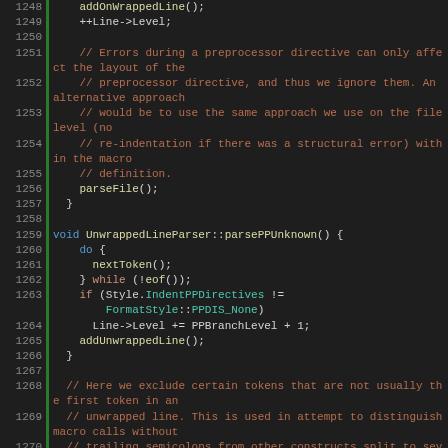Source code listing lines 1248-1272 from UnwrappedLineParser C++ source file